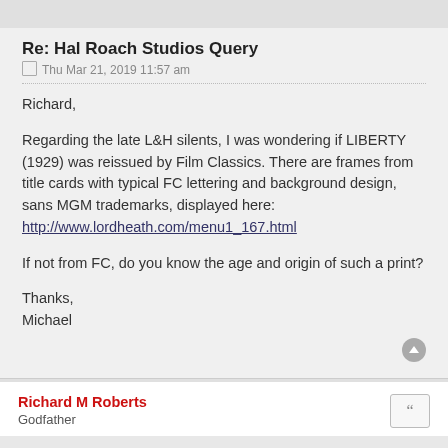Re: Hal Roach Studios Query
Thu Mar 21, 2019 11:57 am
Richard,

Regarding the late L&H silents, I was wondering if LIBERTY (1929) was reissued by Film Classics. There are frames from title cards with typical FC lettering and background design, sans MGM trademarks, displayed here:
http://www.lordheath.com/menu1_167.html

If not from FC, do you know the age and origin of such a print?

Thanks,
Michael
Richard M Roberts
Godfather